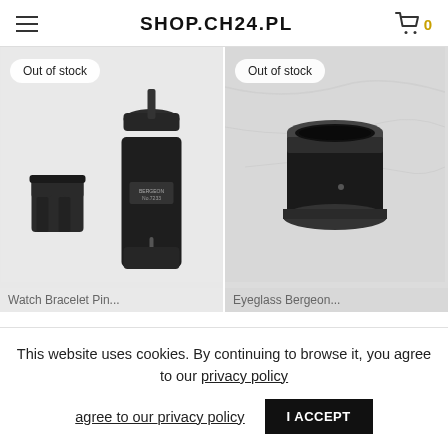SHOP.CH24.PL
[Figure (photo): Watch bracelet pin removal tool (Bergeon No. 7233) on light background with 'Out of stock' badge]
[Figure (photo): Eyeglass / loupe magnifier tool on marble background with 'Out of stock' badge]
Watch Bracelet Pin...
Eyeglass Bergeon...
This website uses cookies. By continuing to browse it, you agree to our privacy policy
I ACCEPT